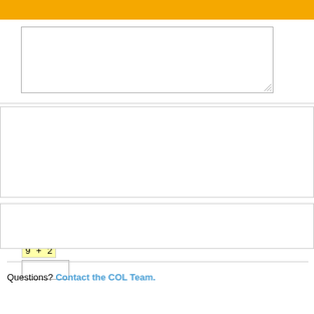[Figure (other): Orange header bar at top of page]
[Figure (other): Empty textarea input box]
Please enter the sum of the numbers you see below: 9 + 2
Next Step >>>
Questions? Contact the COL Team.